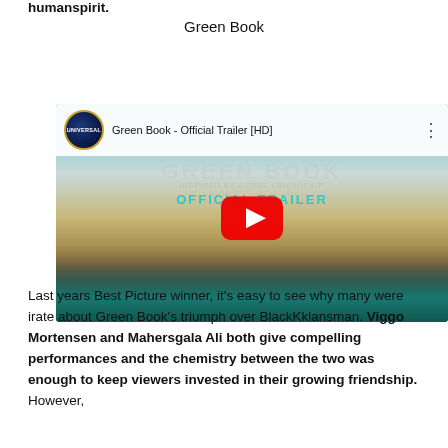humanspirit.
Green Book
[Figure (screenshot): YouTube video thumbnail for 'Green Book - Official Trailer [HD]' showing two men in a teal car, with Universal logo, YouTube play button overlay, and official trailer text]
Last years Best Picture winner, it's easy to see why many were irate about Green Book's triumph over BlackKklansman. Viggo Mortensen and Mahersgala Ali both give compelling performances and the chemistry between the two was enough to keep viewers invested in their growing friendship. However,